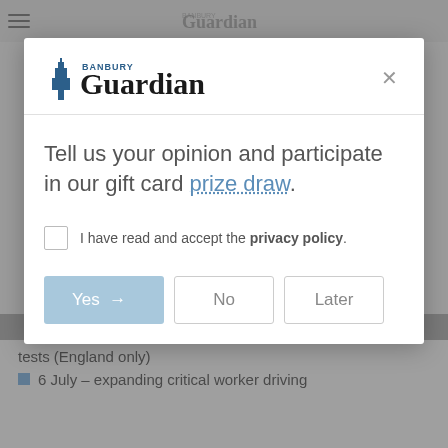[Figure (screenshot): Background newspaper website content partially visible behind modal overlay, showing Banbury Guardian header and article bullet points]
[Figure (logo): Banbury Guardian newspaper logo with tower icon and bold Guardian text]
Tell us your opinion and participate in our gift card prize draw.
I have read and accept the privacy policy.
Yes →
No
Later
tests (England only)
6 July – expanding critical worker driving
Powered by UserReport